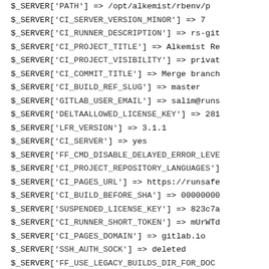$_SERVER['PATH'] => /opt/alkemist/rbenv/p
$_SERVER['CI_SERVER_VERSION_MINOR'] => 7
$_SERVER['CI_RUNNER_DESCRIPTION'] => rs-git
$_SERVER['CI_PROJECT_TITLE'] => Alkemist Re
$_SERVER['CI_PROJECT_VISIBILITY'] => privat
$_SERVER['CI_COMMIT_TITLE'] => Merge branch
$_SERVER['CI_BUILD_REF_SLUG'] => master
$_SERVER['GITLAB_USER_EMAIL'] => salim@runs
$_SERVER['DELTAALLOWED_LICENSE_KEY'] => 281
$_SERVER['LFR_VERSION'] => 3.1.1
$_SERVER['CI_SERVER'] => yes
$_SERVER['FF_CMD_DISABLE_DELAYED_ERROR_LEVE
$_SERVER['CI_PROJECT_REPOSITORY_LANGUAGES']
$_SERVER['CI_PAGES_URL'] => https://runsafe
$_SERVER['CI_BUILD_BEFORE_SHA'] => 00000000
$_SERVER['SUSPENDED_LICENSE_KEY'] => 823c7a
$_SERVER['CI_RUNNER_SHORT_TOKEN'] => mUrWTd
$_SERVER['CI_PAGES_DOMAIN'] => gitlab.io
$_SERVER['SSH_AUTH_SOCK'] => deleted
$_SERVER['FF_USE_LEGACY_BUILDS_DIR_FOR_DOC